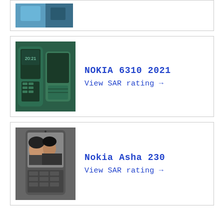[Figure (photo): Partial top card showing a cropped phone image (teal/blue color)]
[Figure (photo): Nokia 6310 2021 phone image - dark green color bar phone]
NOKIA 6310 2021
View SAR rating →
[Figure (photo): Nokia Asha 230 phone image - dark gray phone with selfie on screen]
Nokia Asha 230
View SAR rating →